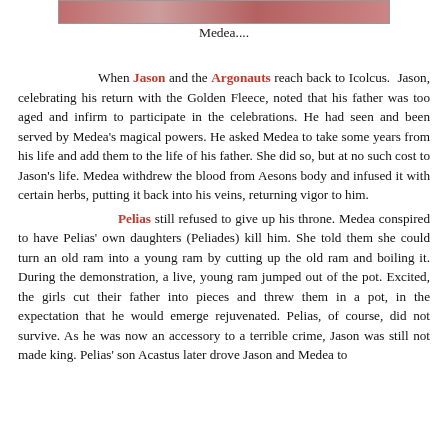[Figure (photo): Top portion of an image, partially visible, showing what appears to be a scene related to Medea]
Medea....
When Jason and the Argonauts reach back to Icolcus. Jason, celebrating his return with the Golden Fleece, noted that his father was too aged and infirm to participate in the celebrations. He had seen and been served by Medea's magical powers. He asked Medea to take some years from his life and add them to the life of his father. She did so, but at no such cost to Jason's life. Medea withdrew the blood from Aesons body and infused it with certain herbs, putting it back into his veins, returning vigor to him.
Pelias still refused to give up his throne. Medea conspired to have Pelias' own daughters (Peliades) kill him. She told them she could turn an old ram into a young ram by cutting up the old ram and boiling it. During the demonstration, a live, young ram jumped out of the pot. Excited, the girls cut their father into pieces and threw them in a pot, in the expectation that he would emerge rejuvenated. Pelias, of course, did not survive. As he was now an accessory to a terrible crime, Jason was still not made king. Pelias' son Acastus later drove Jason and Medea to